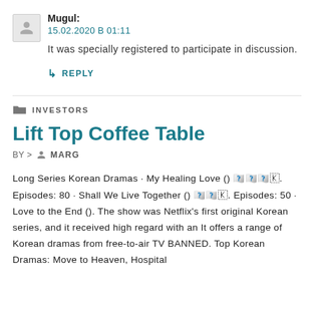Mugul:
15.02.2020 В 01:11
It was specially registered to participate in discussion.
↳ REPLY
INVESTORS
Lift Top Coffee Table
BY > MARG
Long Series Korean Dramas · My Healing Love () 🄺🄾🄺🄾🄺🄾🄺. Episodes: 80 · Shall We Live Together () 🄺🄾🄺🄾🄺. Episodes: 50 · Love to the End (). The show was Netflix's first original Korean series, and it received high regard with an It offers a range of Korean dramas from free-to-air TV BANNED. Top Korean Dramas: Move to Heaven, Hospital